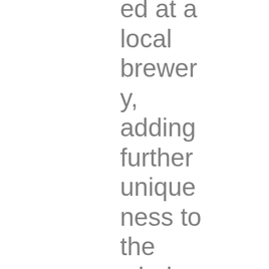ed at a local brewery, adding further uniqueness to the whole experience. While I'm not a huge